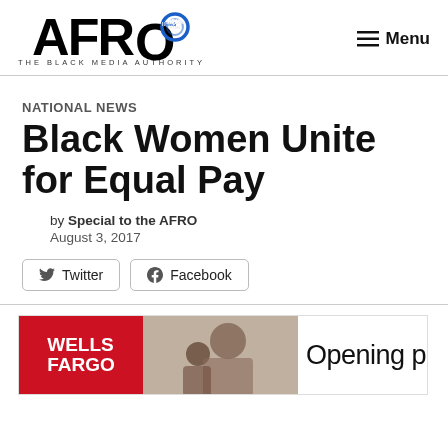AFRO NEWS — THE BLACK MEDIA AUTHORITY | Menu
NATIONAL NEWS
Black Women Unite for Equal Pay
by Special to the AFRO
August 3, 2017
[Figure (other): Twitter and Facebook share buttons]
[Figure (other): Wells Fargo advertisement banner showing a woman and child, with text 'Opening pathw']